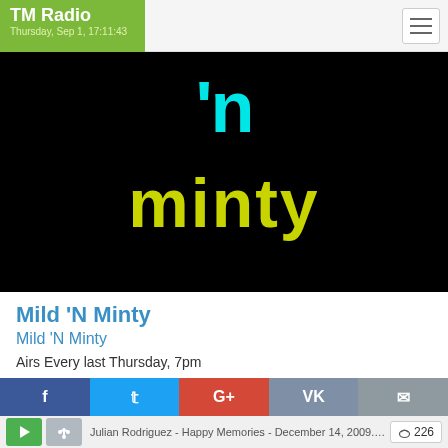TM Radio — Thursday, Sep 1, 17:11:43
[Figure (logo): Mild 'N Minty show logo: black background with cyan apostrophe-N and yellow-green stylized 'minty' text]
Mild 'N Minty
Mild 'N Minty
Airs Every last Thursday, 7pm
Julian Rodriguez - Happy Memories - December 14, 2009.mp3
226 listeners